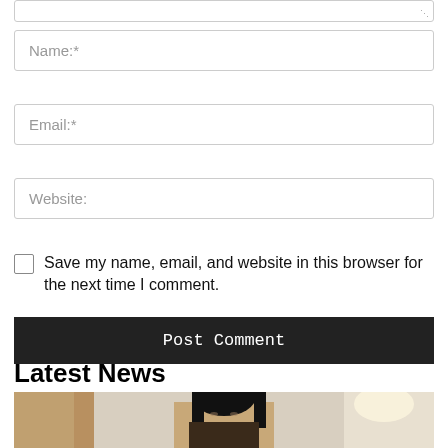(textarea top edge with resize handle)
Name:*
Email:*
Website:
Save my name, email, and website in this browser for the next time I comment.
Post Comment
Latest News
[Figure (photo): Photo of a woman with long dark hair in an interior setting]